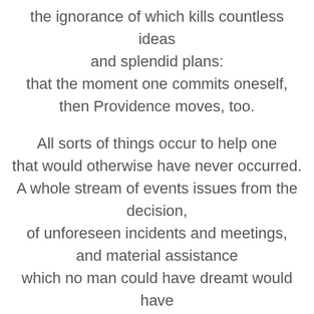the ignorance of which kills countless ideas and splendid plans: that the moment one commits oneself, then Providence moves, too. All sorts of things occur to help one that would otherwise have never occurred. A whole stream of events issues from the decision, of unforeseen incidents and meetings, and material assistance which no man could have dreamt would have come his way I have a deep respect for one of Goethe's